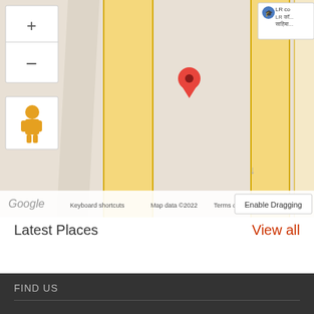[Figure (map): Google Maps screenshot showing streets with yellow road highlights, a red location pin marker, zoom controls (+/-) on left, street view pegman icon, LR label in top right corner, and map footer with Google logo, keyboard shortcuts, map data copyright 2022, terms of use, and enable dragging button.]
Latest Places
View all
FIND US